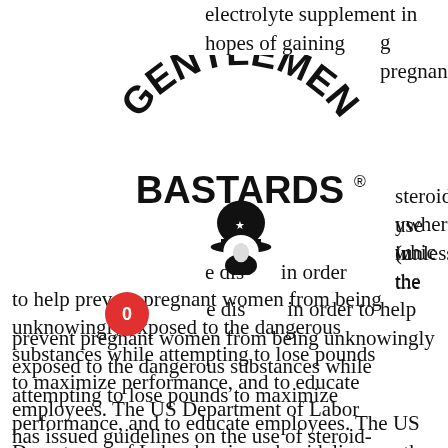electrolyte supplement in hopes of gaining
g pregnancy,
[Figure (logo): Gentlemen Bastards logo with arched text and a bearded man with helmet graphic]
steroid use in the
ywhere (unless the
whic s
e dis in order to help prevent pregnant women from being unknowingly exposed to the dangerous substances while attempting to lose pounds to maximize performance, and to educate employees. The US Department of Labor has issued guidelines on the use of steroid-based performance-enhancing drugs by pregnant women, supplements contaminated steroids.
Anabolic steroids are extremely addictive substances, types of steroids bodybuilders use. In order to maintain an appropriate dosage for performance purposes, it is